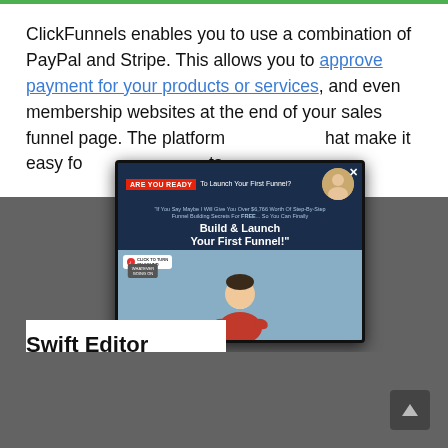ClickFunnels enables you to use a combination of PayPal and Stripe. This allows you to approve payment for your products or services, and even membership websites at the end of your sales funnel page. The platform [offers features] that make it easy fo[r you to collect payments].
[Figure (screenshot): A popup overlay advertisement for ClickFunnels featuring 'ARE YOU READY To Launch Your First Funnel?' header with a red badge, avatar of a man, subtext about funnel building secrets, 'Build & Launch Your First Funnel!' bold text, a video area with a play button, a person in a red shirt, and a sound badge in the top left corner.]
Swift Editor